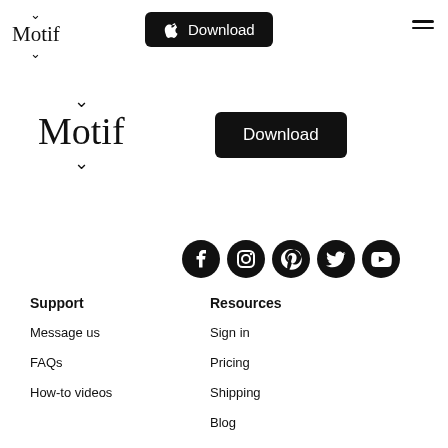[Figure (screenshot): Top navigation bar with Motif logo (with chevrons above and below), a black Download button with Apple logo, and a hamburger menu icon]
[Figure (screenshot): Motif logo with chevrons above and below, and a black Download button to the right]
[Figure (infographic): Row of 5 social media icons: Facebook, Instagram, Pinterest, Twitter, YouTube — all black circles with white icons]
Support
Message us
FAQs
How-to videos
Resources
Sign in
Pricing
Shipping
Blog